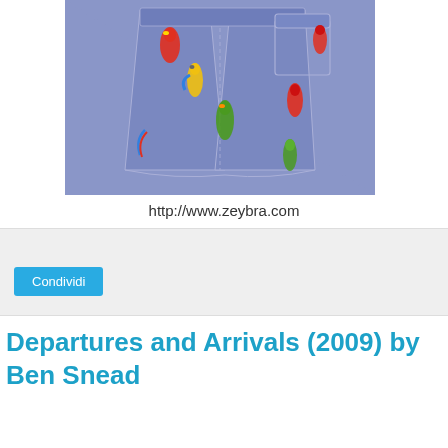[Figure (photo): Blue/purple swim shorts with colorful parrot print, shown from the back]
http://www.zeybra.com
Condividi
Departures and Arrivals (2009) by Ben Snead